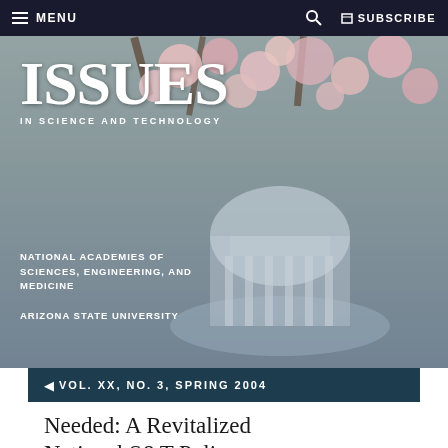MENU | SUBSCRIBE
[Figure (photo): Hero background image showing cherry blossoms in the foreground and a domed government building (Jefferson Memorial) in the background, overlaid with the Issues in Science and Technology magazine logo and publisher information.]
ISSUES IN SCIENCE AND TECHNOLOGY
NATIONAL ACADEMIES OF SCIENCES, ENGINEERING, AND MEDICINE
ARIZONA STATE UNIVERSITY
VOL. XX, NO. 3, SPRING 2004
Needed: A Revitalized National S&T Policy